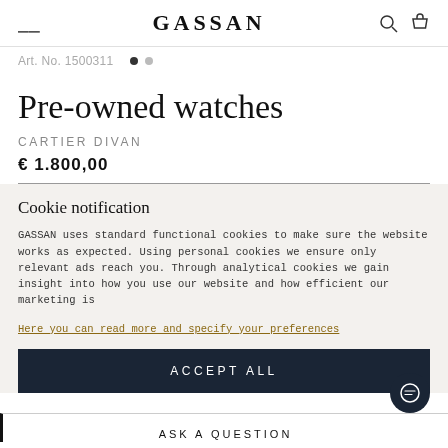GASSAN
Art. No. 1500311
Pre-owned watches
CARTIER DIVAN
€ 1.800,00
Cookie notification
GASSAN uses standard functional cookies to make sure the website works as expected. Using personal cookies we ensure only relevant ads reach you. Through analytical cookies we gain insight into how you use our website and how efficient our marketing is
Here you can read more and specify your preferences
ACCEPT ALL
ASK A QUESTION